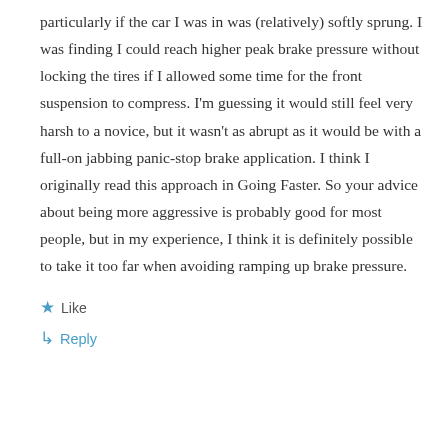particularly if the car I was in was (relatively) softly sprung. I was finding I could reach higher peak brake pressure without locking the tires if I allowed some time for the front suspension to compress. I'm guessing it would still feel very harsh to a novice, but it wasn't as abrupt as it would be with a full-on jabbing panic-stop brake application. I think I originally read this approach in Going Faster. So your advice about being more aggressive is probably good for most people, but in my experience, I think it is definitely possible to take it too far when avoiding ramping up brake pressure.
★ Like
↳ Reply